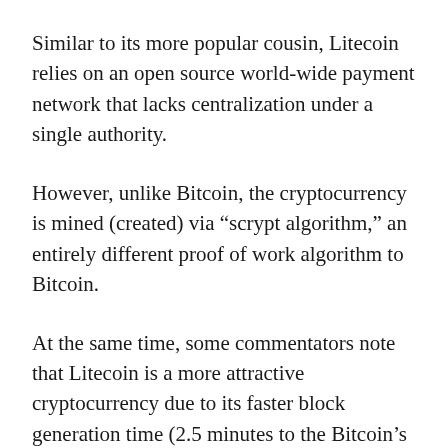Similar to its more popular cousin, Litecoin relies on an open source world-wide payment network that lacks centralization under a single authority.
However, unlike Bitcoin, the cryptocurrency is mined (created) via “scrypt algorithm,” an entirely different proof of work algorithm to Bitcoin.
At the same time, some commentators note that Litecoin is a more attractive cryptocurrency due to its faster block generation time (2.5 minutes to the Bitcoin’s 10), thus it enables a more expedient confirmation of the electronic transaction.
In November 2017, Litecoin’s market capitalization